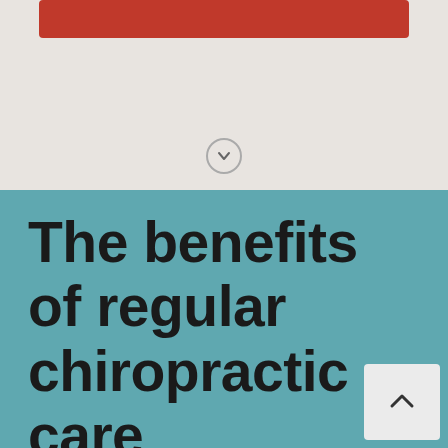[Figure (other): Red bar at top of page, partial UI element]
[Figure (other): Down chevron circle button in grey section]
The benefits of regular chiropractic care
[Figure (other): Scroll-up button (caret/arrow up) in light grey box at bottom right]